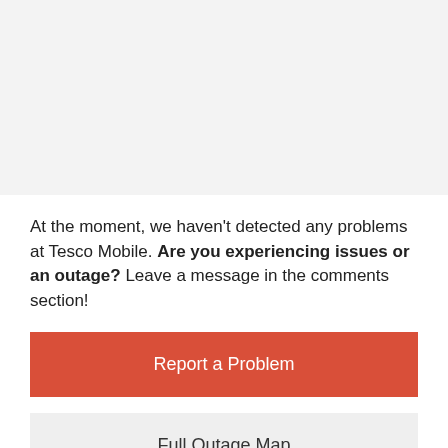[Figure (other): Gray background placeholder area at top of page]
At the moment, we haven't detected any problems at Tesco Mobile. Are you experiencing issues or an outage? Leave a message in the comments section!
Report a Problem
Full Outage Map